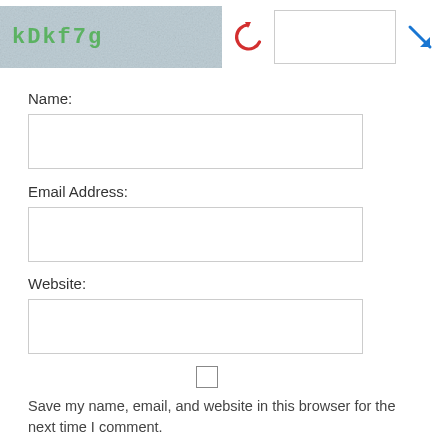[Figure (screenshot): CAPTCHA widget showing distorted text 'kDkf7g' on a textured blue-grey background, a red undo/refresh icon, an empty text input box, and a blue diagonal arrow icon]
Name:
[Figure (screenshot): Empty text input field for Name]
Email Address:
[Figure (screenshot): Empty text input field for Email Address]
Website:
[Figure (screenshot): Empty text input field for Website]
[Figure (screenshot): Unchecked checkbox]
Save my name, email, and website in this browser for the next time I comment.